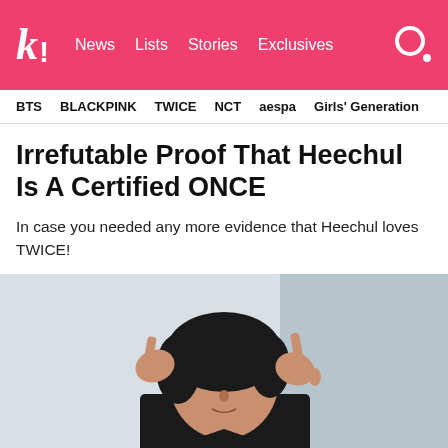k! News Lists Stories Exclusives
BTS BLACKPINK TWICE NCT aespa Girls' Generation
Irrefutable Proof That Heechul Is A Certified ONCE
In case you needed any more evidence that Heechul loves TWICE!
[Figure (photo): Photo of Heechul, a Korean man with dark hair wearing a black outfit, holding his hands up near his temples with index fingers raised, making a gesture against a blurred light background.]